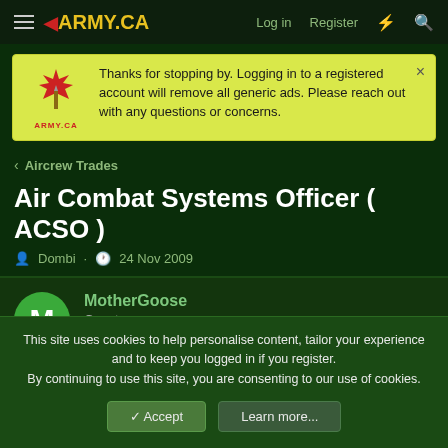ARMY.CA — Log in | Register
Thanks for stopping by. Logging in to a registered account will remove all generic ads. Please reach out with any questions or concerns.
< Aircrew Trades
Air Combat Systems Officer ( ACSO )
Dombi · 24 Nov 2009
MotherGoose
Guest
This site uses cookies to help personalise content, tailor your experience and to keep you logged in if you register.
By continuing to use this site, you are consenting to our use of cookies.